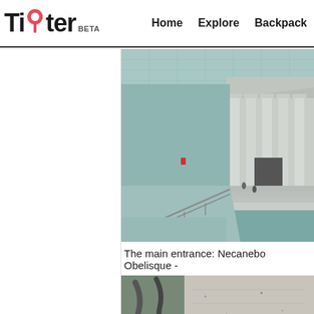Tipter BETA — Home  Explore  Backpack
[Figure (photo): Interior of a museum (British Museum great court), showing a ramp/walkway leading up to a neoclassical building facade with columns, under a large glass roof.]
The main entrance: Necanebo Obelisque -
[Figure (photo): Partial view of a second museum exhibit image, showing a stone artifact display near a window.]